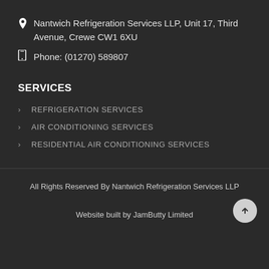Nantwich Refrigeration Services LLP, Unit 17, Third Avenue, Crewe CW1 6XU
Phone: (01270) 589807
SERVICES
REFRIGERATION SERVICES
AIR CONDITIONING SERVICES
RESIDENTIAL AIR CONDITIONING SERVICES
All Rights Reserved By Nantwich Refrigeration Services LLP
Website built by JamButty Limited